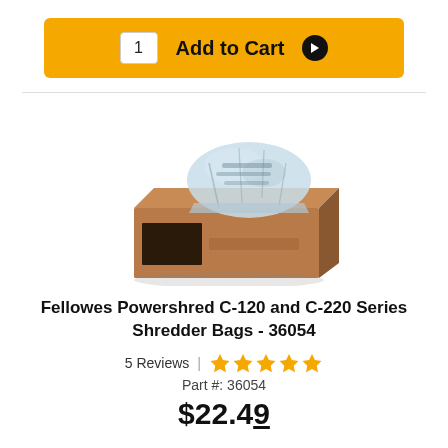[Figure (other): Add to Cart button bar with quantity field showing 1 and yellow background]
[Figure (photo): Product photo of Fellowes Powershred shredder bags - a brown cardboard box with a clear plastic bag coming out of the top]
Fellowes Powershred C-120 and C-220 Series Shredder Bags - 36054
5 Reviews | ★★★★★
Part #: 36054
$22.49